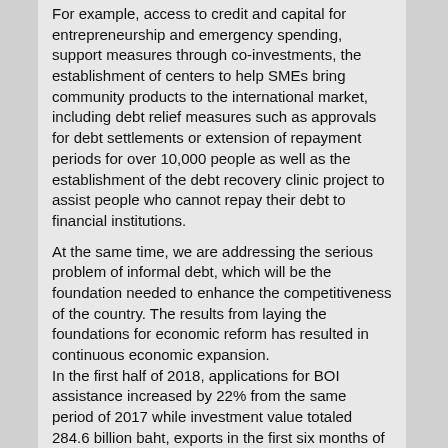For example, access to credit and capital for entrepreneurship and emergency spending, support measures through co-investments, the establishment of centers to help SMEs bring community products to the international market, including debt relief measures such as approvals for debt settlements or extension of repayment periods for over 10,000 people as well as the establishment of the debt recovery clinic project to assist people who cannot repay their debt to financial institutions.
At the same time, we are addressing the serious problem of informal debt, which will be the foundation needed to enhance the competitiveness of the country. The results from laying the foundations for economic reform has resulted in continuous economic expansion. In the first half of 2018, applications for BOI assistance increased by 22% from the same period of 2017 while investment value totaled 284.6 billion baht, exports in the first six months of the year grew by 11%, and the number of tourists in the first half of 2018 increased by 12.5% compared to the first half of last year. It is expected that the GDP of the country in 2018 will expand by 4.2 – 4.7%. In agricultural reform, the slump in agricultural prices is one of the most significant and repetitive problems. The cause of the problem is unplanned production with no output management.
In past occurrences, governments or government agencies would